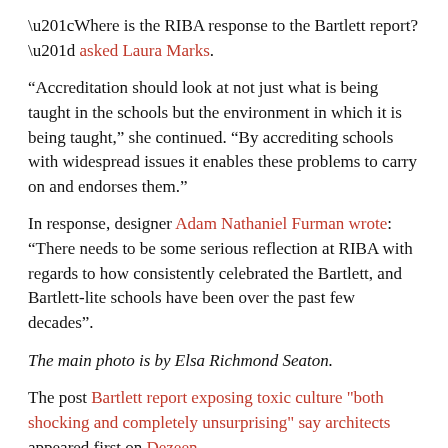“Where is the RIBA response to the Bartlett report?” asked Laura Marks.
“Accreditation should look at not just what is being taught in the schools but the environment in which it is being taught,” she continued. “By accrediting schools with widespread issues it enables these problems to carry on and endorses them.”
In response, designer Adam Nathaniel Furman wrote: “There needs to be some serious reflection at RIBA with regards to how consistently celebrated the Bartlett, and Bartlett-lite schools have been over the past few decades”.
The main photo is by Elsa Richmond Seaton.
The post Bartlett report exposing toxic culture "both shocking and completely unsurprising" say architects appeared first on Dezeen.
Share this: